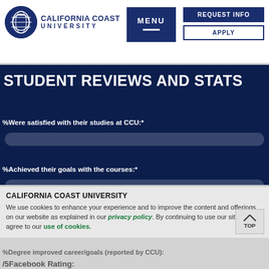[Figure (logo): California Coast University logo with globe icon and university name]
REQUEST INFO
APPLY
MENU
STUDENT REVIEWS AND STATS
%Were satisfied with their studies at CCU:*
%Achieved their goals with the courses:*
%Would recommend these studies to a friend:*
%Degree improved career/goals (reported by CCU):
/5Facebook Rating:
CALIFORNIA COAST UNIVERSITY
We use cookies to enhance your experience and to improve the content and offerings on our website as explained in our privacy policy. By continuing to use our site, you agree to our use of cookies.